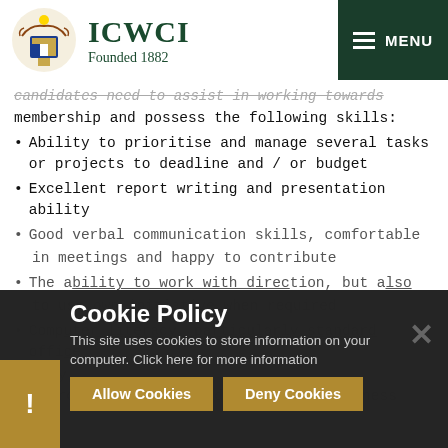ICWCI Founded 1882
candidates need to assist in working towards membership and possess the following skills:
Ability to prioritise and manage several tasks or projects to deadline and / or budget
Excellent report writing and presentation ability
Good verbal communication skills, comfortable in meetings and happy to contribute
The ability to work with direction, but also to use own initiative when required
Computer literacy, particularly standard office programs
Commercial awareness and financial awareness
Cookie Policy
This site uses cookies to store information on your computer. Click here for more information
Allow Cookies  Deny Cookies